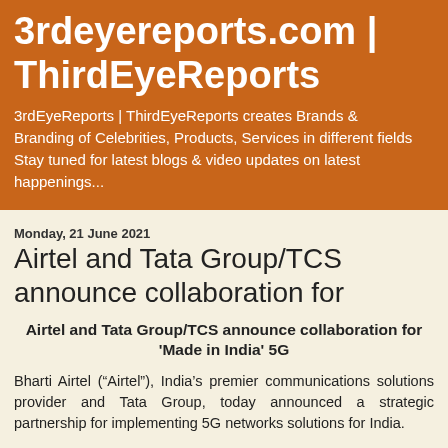3rdeyereports.com | ThirdEyeReports
3rdEyeReports | ThirdEyeReports creates Brands & Branding of Celebrities, Products, Services in different fields Stay tuned for latest blogs & video updates on latest happenings...
Monday, 21 June 2021
Airtel and Tata Group/TCS announce collaboration for
Airtel and Tata Group/TCS announce collaboration for 'Made in India' 5G
Bharti Airtel (“Airtel”), India’s premier communications solutions provider and Tata Group, today announced a strategic partnership for implementing 5G networks solutions for India.